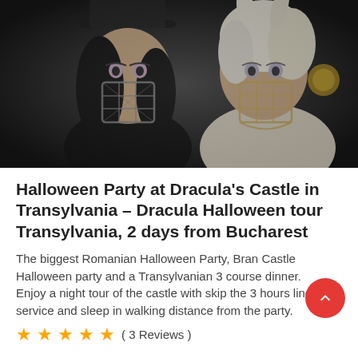[Figure (photo): Two people in elaborate Halloween costumes with cage-like masks over their faces — one with black hair and dark costume, the other with white/blonde hair and lighter costume. Both wearing theatrical makeup.]
Halloween Party at Dracula's Castle in Transylvania – Dracula Halloween tour Transylvania, 2 days from Bucharest
The biggest Romanian Halloween Party, Bran Castle Halloween party and a Transylvanian 3 course dinner.
Enjoy a night tour of the castle with skip the 3 hours line service and sleep in walking distance from the party.
★★★★★  ( 3 Reviews )